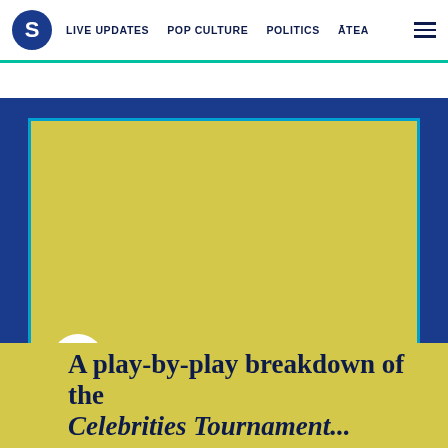S  LIVE UPDATES  POP CULTURE  POLITICS  ĀTEA  ☰
[Figure (illustration): Yellow card with cyan border on dark blue background, containing a share icon button and the beginning of an article title.]
A play-by-play breakdown of the Celebrities Tournament...